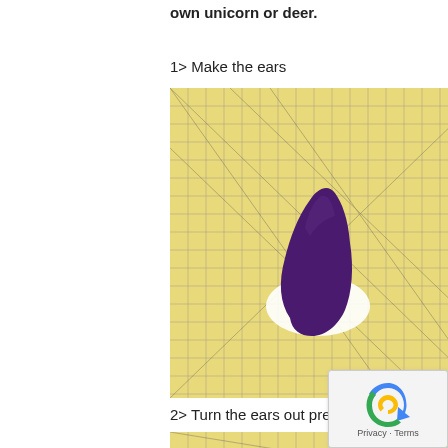own unicorn or deer.
1> Make the ears
[Figure (photo): A purple felt ear piece cut out, shaped like a pointed ear, placed on a yellow grid cutting mat with diagonal guide lines.]
2> Turn the ears out press and fold
[Figure (photo): Bottom portion of a yellow grid cutting mat, partially visible.]